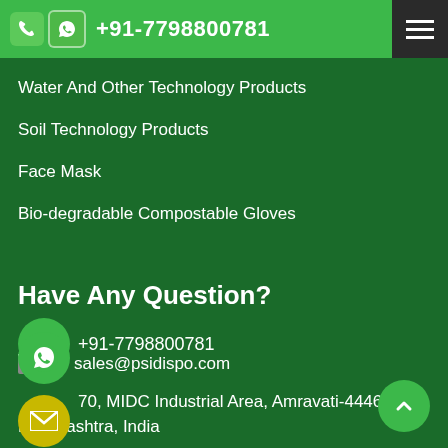+91-7798800781
Water And Other Technology Products
Soil Technology Products
Face Mask
Bio-degradable Compostable Gloves
Have Any Question?
+91-7798800781
sales@psidispo.com
70, MIDC Industrial Area, Amravati-444607, Maharashtra, India